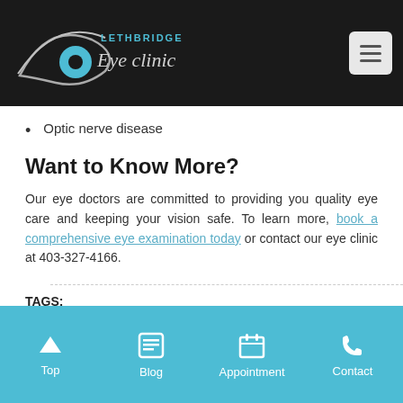[Figure (logo): Lethbridge Eye Clinic logo with eye graphic on dark background header, plus hamburger menu button]
Optic nerve disease
Want to Know More?
Our eye doctors are committed to providing you quality eye care and keeping your vision safe. To learn more, book a comprehensive eye examination today or contact our eye clinic at 403-327-4166.
TAGS:
Top | Blog | Appointment | Contact